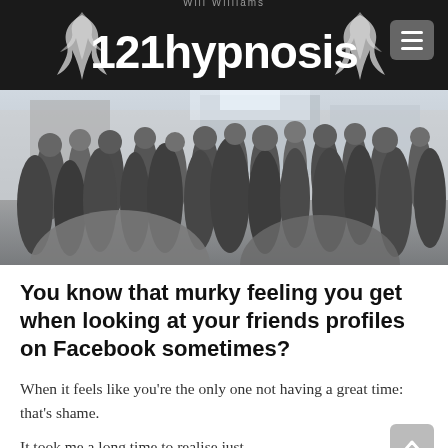Will Williams 121hypnosis
[Figure (photo): A large crowd of people walking on a busy urban street, photographed in black and white / desaturated tones.]
You know that murky feeling you get when looking at your friends profiles on Facebook sometimes?
When it feels like you’re the only one not having a great time: that’s shame.
It took me a long time to realise just